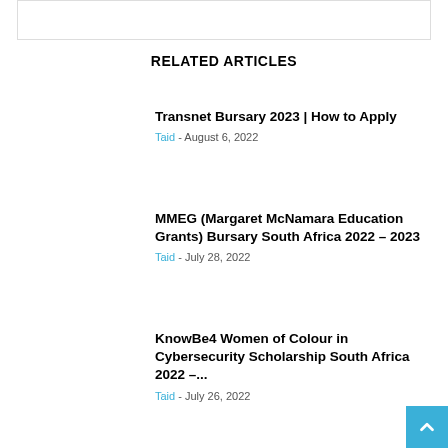RELATED ARTICLES
Transnet Bursary 2023 | How to Apply
Taid - August 6, 2022
MMEG (Margaret McNamara Education Grants) Bursary South Africa 2022 – 2023
Taid - July 28, 2022
KnowBe4 Women of Colour in Cybersecurity Scholarship South Africa 2022 –...
Taid - July 26, 2022